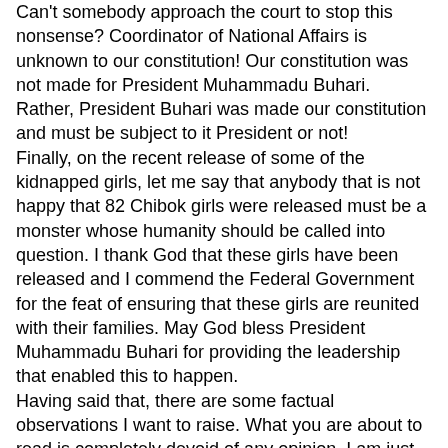Can't somebody approach the court to stop this nonsense? Coordinator of National Affairs is unknown to our constitution! Our constitution was not made for President Muhammadu Buhari. Rather, President Buhari was made our constitution and must be subject to it President or not!
Finally, on the recent release of some of the kidnapped girls, let me say that anybody that is not happy that 82 Chibok girls were released must be a monster whose humanity should be called into question. I thank God that these girls have been released and I commend the Federal Government for the feat of ensuring that these girls are reunited with their families. May God bless President Muhammadu Buhari for providing the leadership that enabled this to happen.
Having said that, there are some factual observations I want to raise. What you are about to read is completely devoid of any opinion. I am just stating facts. You may not like the facts. You may not even like me. But one thing you cannot do is ignore the fact.
Why should a Presidential spokesman turn himself to a praise singer for a terrorist group? Read the following quote: